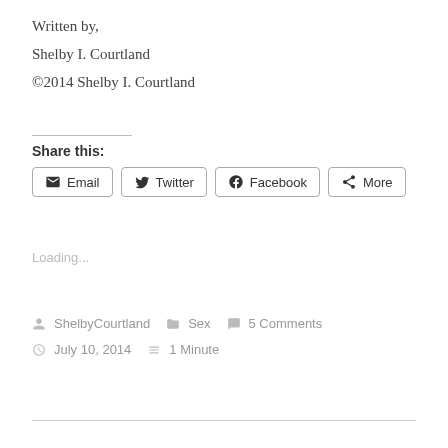Written by,
Shelby I. Courtland
©2014 Shelby I. Courtland
Share this:
[Figure (other): Share buttons: Email, Twitter, Facebook, More]
Loading...
ShelbyCourtland   Sex   5 Comments
July 10, 2014   1 Minute